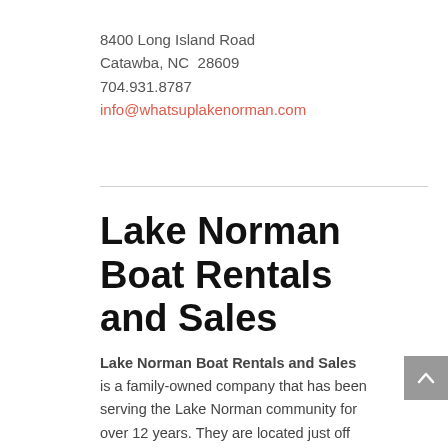8400 Long Island Road
Catawba, NC  28609
704.931.8787
info@whatsuplakenorman.com
Lake Norman Boat Rentals and Sales
Lake Norman Boat Rentals and Sales is a family-owned company that has been serving the Lake Norman community for over 12 years. They are located just off Highway 150 in Mooresville, just West of McCrary Access Area and Queens Landing. Their rental fleet includes